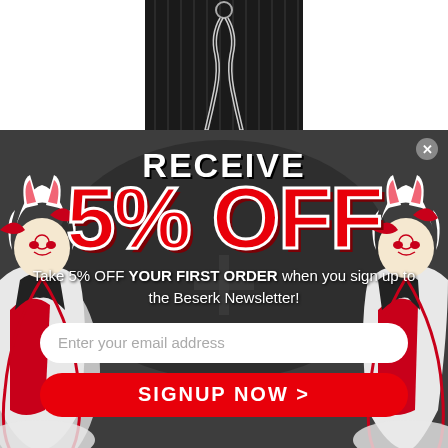[Figure (photo): Top portion showing a dark clothing item with chain detail, partially visible]
[Figure (illustration): Popup promotional banner with anime-style fox kitsune mask characters in red and white on dark grey background. Left and right sides show illustrated characters. Center has promotional text and form.]
RECEIVE
5% OFF
Take 5% OFF YOUR FIRST ORDER when you sign up to the Beserk Newsletter!
Enter your email address
SIGNUP NOW >